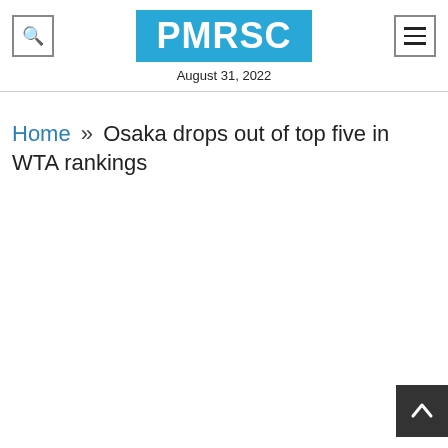PMRSC
August 31, 2022
Home » Osaka drops out of top five in WTA rankings